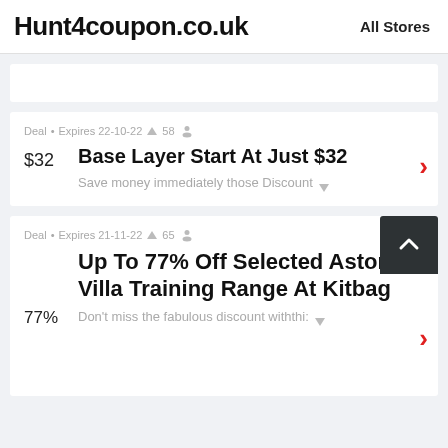Hunt4coupon.co.uk  All Stores
Deal • Expires 22-10-22 ▲ 58 👤
$32
Base Layer Start At Just $32
Save money immediately those Discount
Deal • Expires 21-11-22 ▲ 65 👤
77%
Up To 77% Off Selected Aston Villa Training Range At Kitbag
Don't miss the fabulous discount withthi: